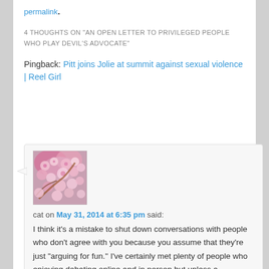permalink.
4 THOUGHTS ON "AN OPEN LETTER TO PRIVILEGED PEOPLE WHO PLAY DEVIL'S ADVOCATE"
Pingback: Pitt joins Jolie at summit against sexual violence | Reel Girl
[Figure (photo): Avatar photo showing pink cherry blossom flowers]
cat on May 31, 2014 at 6:35 pm said:
I think it's a mistake to shut down conversations with people who don't agree with you because you assume that they're just "arguing for fun." I've certainly met plenty of people who enjoying debating online and in person but unless a discussion is coming to a standstill because each side is steadfast in their beliefs and unwilling to